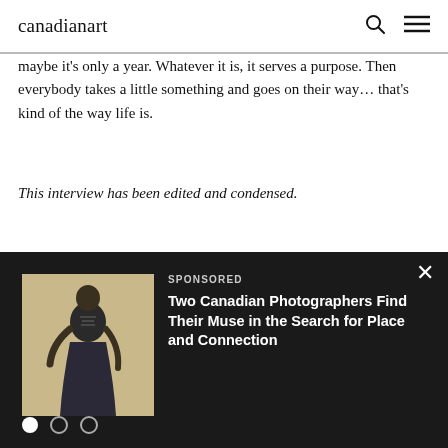canadianart
maybe it's only a year. Whatever it is, it serves a purpose. Then everybody takes a little something and goes on their way… that's kind of the way life is.
This interview has been edited and condensed.
[Figure (screenshot): Dark advertisement overlay at the bottom of the page with a close (X) button, a figure/portrait image on the left, sponsored label, and article title 'Two Canadian Photographers Find Their Muse in the Search for Place and Connection', with carousel dots below.]